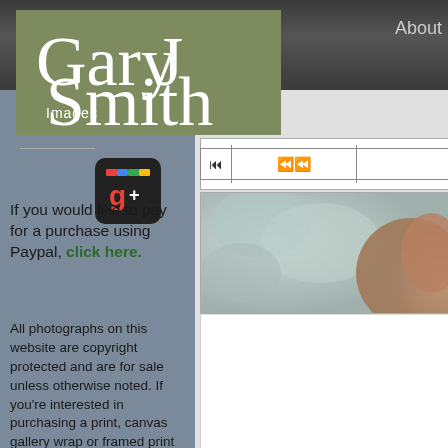[Figure (logo): Gary J Smith Images logo on olive/grey-green background with cursive white text]
About
[Figure (screenshot): Google+ icon - black rounded square with g+ in red/blue/yellow/green colors]
If you would like to pay for a purchase using Paypal, click here.
All photographs on this website are copyright protected and are for sale unless otherwise noted. If you're interested in purchasing a print, canvas gallery wrap or framed print of any photograph on my site you can either send me an e-mail or give me a call. I'll work with you
aits
[Figure (photo): Partial close-up photograph of an animal - blurred background with muted green-grey tones and warm brown animal fur visible on the right side]